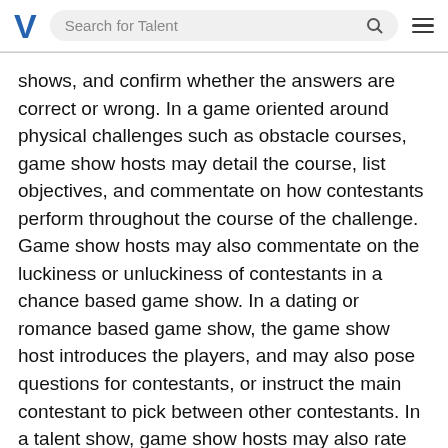Search for Talent
shows, and confirm whether the answers are correct or wrong. In a game oriented around physical challenges such as obstacle courses, game show hosts may detail the course, list objectives, and commentate on how contestants perform throughout the course of the challenge. Game show hosts may also commentate on the luckiness or unluckiness of contestants in a chance based game show. In a dating or romance based game show, the game show host introduces the players, and may also pose questions for contestants, or instruct the main contestant to pick between other contestants. In a talent show, game show hosts may also rate contestants based on their abilities.